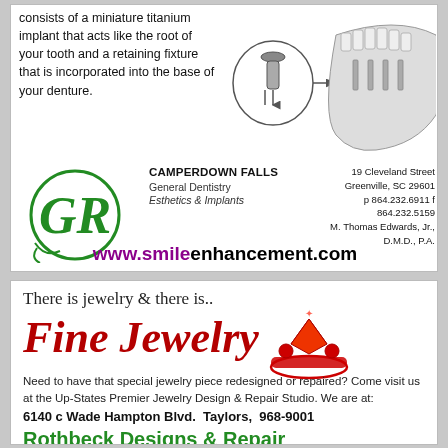consists of a miniature titanium implant that acts like the root of your tooth and a retaining fixture that is incorporated into the base of your denture.
[Figure (illustration): Dental implant diagram showing a miniature titanium implant with retaining fixture and a lower jaw denture model]
[Figure (logo): Camperdown Falls green ornate circular logo]
CAMPERDOWN FALLS General Dentistry Esthetics & Implants
19 Cleveland Street Greenville, SC 29601 p 864.232.6911 f 864.232.5159 M. Thomas Edwards, Jr., D.M.D., P.A.
www.smileenhancement.com
There is jewelry & there is..
Fine Jewelry
[Figure (illustration): Red illustrated diamond engagement ring]
Need to have that special jewelry piece redesigned or repaired? Come visit us at the Up-States Premier Jewelry Design & Repair Studio. We are at:
6140 c Wade Hampton Blvd.  Taylors,  968-9001
Rothbeck Designs & Repair